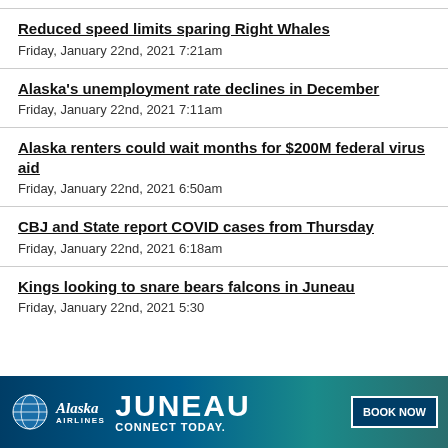Reduced speed limits sparing Right Whales
Friday, January 22nd, 2021 7:21am
Alaska's unemployment rate declines in December
Friday, January 22nd, 2021 7:11am
Alaska renters could wait months for $200M federal virus aid
Friday, January 22nd, 2021 6:50am
CBJ and State report COVID cases from Thursday
Friday, January 22nd, 2021 6:18am
Kings looking to snare bears falcons in Juneau
Friday, January 22nd, 2021 5:30
[Figure (infographic): Alaska Airlines advertisement banner: JUNEAU CONNECT TODAY. with a Book Now button and diver image]